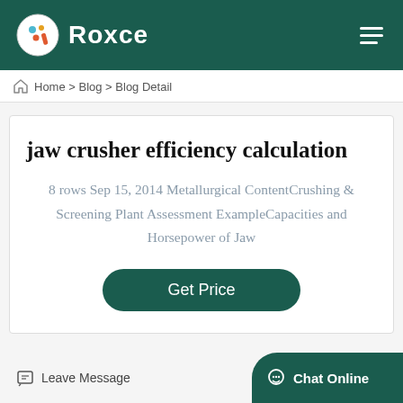Roxce
Home > Blog > Blog Detail
jaw crusher efficiency calculation
8 rows Sep 15, 2014 Metallurgical ContentCrushing & Screening Plant Assessment ExampleCapacities and Horsepower of Jaw
Get Price
Leave Message  Chat Online